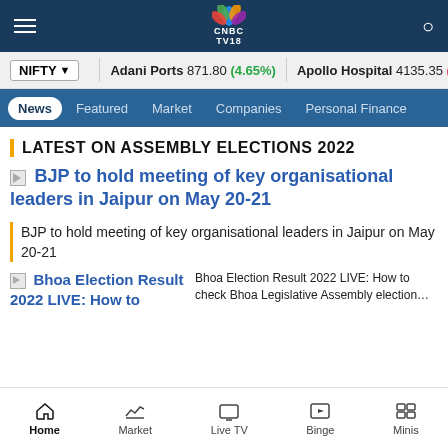CNBC TV18 navigation bar with hamburger menu, CNBC TV18 logo, and search icon
NIFTY ▾  Adani Ports 871.80 (4.65%)  Apollo Hospital 4135.35 (-3.…
News  Featured  Market  Companies  Personal Finance
LATEST ON ASSEMBLY ELECTIONS 2022
[Figure (photo): Placeholder image for BJP article]
BJP to hold meeting of key organisational leaders in Jaipur on May 20-21
BJP to hold meeting of key organisational leaders in Jaipur on May 20-21
[Figure (photo): Placeholder image for Bhoa Election Result article]
Bhoa Election Result 2022 LIVE: How to check Bhoa Legislative Assembly election…
Home  Market  Live TV  Binge  Minis